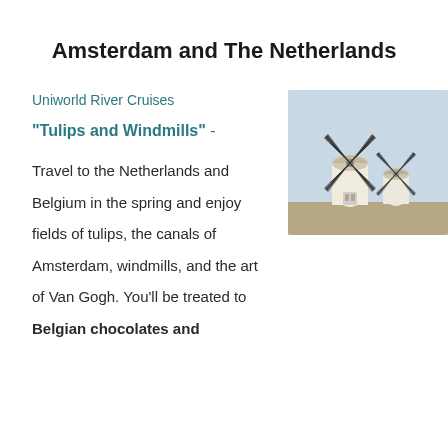Amsterdam and The Netherlands
Uniworld River Cruises
"Tulips and Windmills" -
[Figure (photo): Two white windmills against a pale blue sky, with latticed wooden blades, photographed in The Netherlands style landscape.]
Travel to the Netherlands and Belgium in the spring and enjoy fields of tulips, the canals of Amsterdam, windmills, and the art of Van Gogh. You'll be treated to Belgian chocolates and